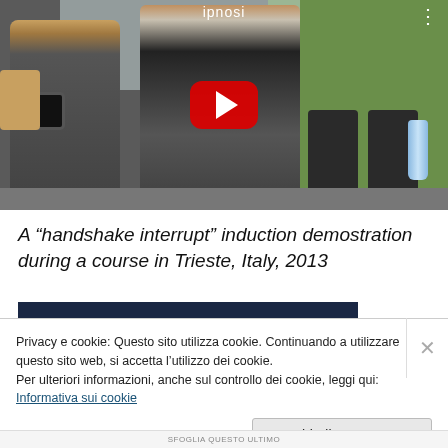[Figure (screenshot): YouTube video thumbnail showing two men in a conference room. One man in a dark suit appears to be performing a hypnotic induction technique on another man. A person is photographing the scene with a phone. A YouTube play button is visible in the center. The video title area shows 'ipnosi'.]
A “handshake interrupt” induction demostration during a course in Trieste, Italy, 2013
Privacy e cookie: Questo sito utilizza cookie. Continuando a utilizzare questo sito web, si accetta l’utilizzo dei cookie.
Per ulteriori informazioni, anche sul controllo dei cookie, leggi qui:
Informativa sui cookie
Chiudi e accetta
SFOGLIA QUESTO ULTIMO